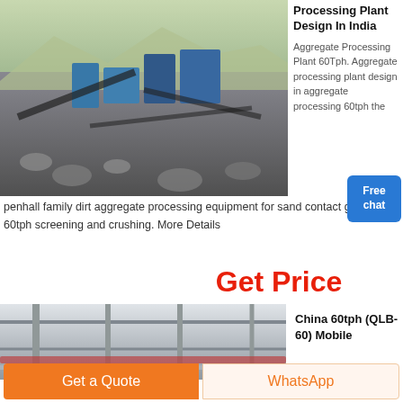[Figure (photo): Aerial/ground-level view of an aggregate processing plant with machinery, conveyor belts, and crushed rock in an open-pit quarry setting.]
Processing Plant Design In India
Aggregate Processing Plant 60Tph. Aggregate processing plant design in aggregate processing 60tph the
penhall family dirt aggregate processing equipment for sand contact get price 60tph screening and crushing. More Details
Get Price
[Figure (photo): Industrial facility showing metal structures, pipes, and conveyor systems of a mobile aggregate plant.]
China 60tph (QLB-60) Mobile
Get a Quote
WhatsApp